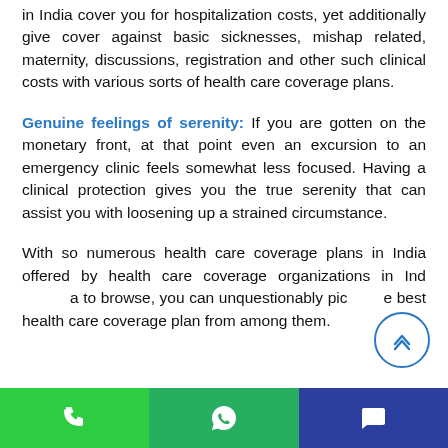in India cover you for hospitalization costs, yet additionally give cover against basic sicknesses, mishap related, maternity, discussions, registration and other such clinical costs with various sorts of health care coverage plans.
Genuine feelings of serenity: If you are gotten on the monetary front, at that point even an excursion to an emergency clinic feels somewhat less focused. Having a clinical protection gives you the true serenity that can assist you with loosening up a strained circumstance.
With so numerous health care coverage plans in India offered by health care coverage organizations in India to browse, you can unquestionably pick the best health care coverage plan from among them.
Phone | WhatsApp | Chat